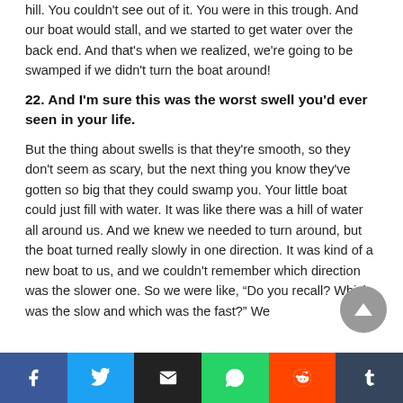hill. You couldn't see out of it. You were in this trough. And our boat would stall, and we started to get water over the back end. And that's when we realized, we're going to be swamped if we didn't turn the boat around!
22. And I'm sure this was the worst swell you'd ever seen in your life.
But the thing about swells is that they're smooth, so they don't seem as scary, but the next thing you know they've gotten so big that they could swamp you. Your little boat could just fill with water. It was like there was a hill of water all around us. And we knew we needed to turn around, but the boat turned really slowly in one direction. It was kind of a new boat to us, and we couldn't remember which direction was the slower one. So we were like, "Do you recall? Which was the slow and which was the fast?" We
Share buttons: Facebook, Twitter, Email, WhatsApp, Reddit, Tumblr